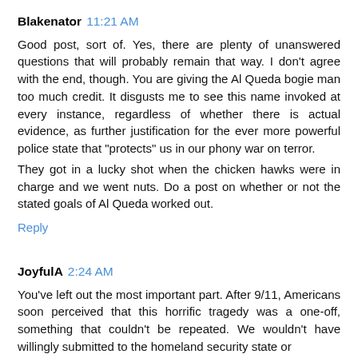Blakenator  11:21 AM
Good post, sort of. Yes, there are plenty of unanswered questions that will probably remain that way. I don't agree with the end, though. You are giving the Al Queda bogie man too much credit. It disgusts me to see this name invoked at every instance, regardless of whether there is actual evidence, as further justification for the ever more powerful police state that "protects" us in our phony war on terror.
They got in a lucky shot when the chicken hawks were in charge and we went nuts. Do a post on whether or not the stated goals of Al Queda worked out.
Reply
JoyfulA  2:24 AM
You've left out the most important part. After 9/11, Americans soon perceived that this horrific tragedy was a one-off, something that couldn't be repeated. We wouldn't have willingly submitted to the homeland security state or